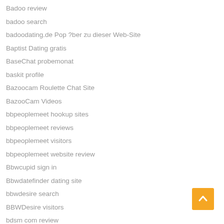Badoo review
badoo search
badoodating.de Pop ?ber zu dieser Web-Site
Baptist Dating gratis
BaseChat probemonat
baskit profile
Bazoocam Roulette Chat Site
BazooCam Videos
bbpeoplemeet hookup sites
bbpeoplemeet reviews
bbpeoplemeet visitors
bbpeoplemeet website review
Bbwcupid sign in
Bbwdatefinder dating site
bbwdesire search
BBWDesire visitors
bdsm com review
BDSM reviews
BDSM visitors